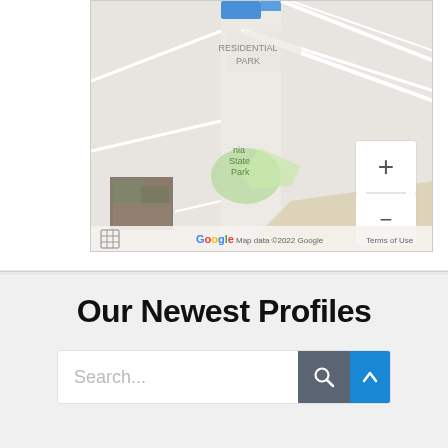[Figure (map): Google Maps screenshot showing a residential area with 'RESIDENTIAL PARK' label, green park area labeled 'nia State Park', zoom controls (+ and -), satellite thumbnail, Google logo, and 'Map data ©2022 Google  Terms of Use' footer text.]
Our Newest Profiles
Search...